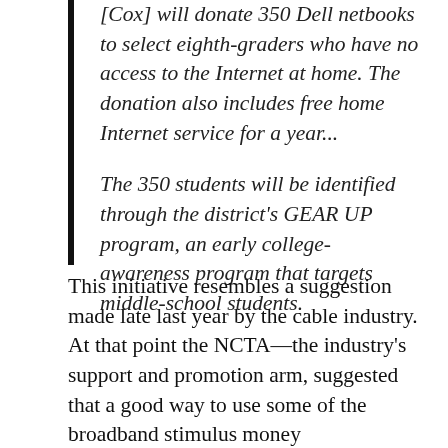[Cox] will donate 350 Dell netbooks to select eighth-graders who have no access to the Internet at home. The donation also includes free home Internet service for a year...
The 350 students will be identified through the district's GEAR UP program, an early college-awareness program that targets middle-school students.
This initiative resembles a suggestion made late last year by the cable industry. At that point the NCTA—the industry's support and promotion arm, suggested that a good way to use some of the broadband stimulus money